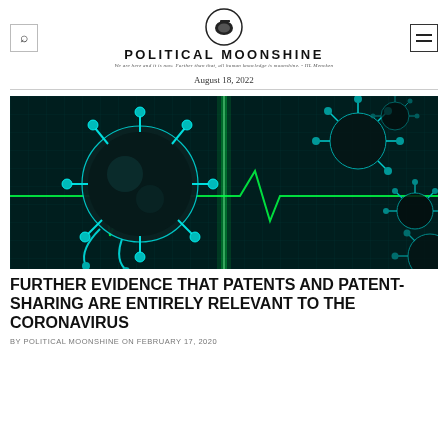POLITICAL MOONSHINE | August 18, 2022
[Figure (photo): 3D rendered image of coronavirus particles (blue spherical shapes with spike proteins) against a dark teal background with a green electrocardiogram heartbeat line running through the center.]
FURTHER EVIDENCE THAT PATENTS AND PATENT-SHARING ARE ENTIRELY RELEVANT TO THE CORONAVIRUS
BY POLITICAL MOONSHINE ON FEBRUARY 17, 2020